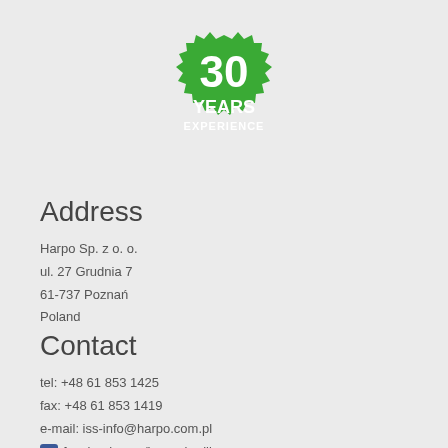[Figure (logo): Green badge/seal with '30 YEARS EXPERIENCE' text in white]
Address
Harpo Sp. z o. o.
ul. 27 Grudnia 7
61-737 Poznań
Poland
Contact
tel: +48 61 853 1425
fax: +48 61 853 1419
e-mail: iss-info@harpo.com.pl
facebook.com/harpo.braillo